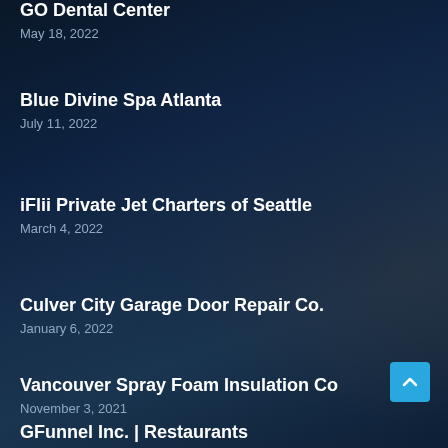GO Dental Center
May 18, 2022
Blue Divine Spa Atlanta
July 11, 2022
iFlii Private Jet Charters of Seattle
March 4, 2022
Culver City Garage Door Repair Co.
January 6, 2022
Vancouver Spray Foam Insulation Co
November 3, 2021
GFunnel Inc. | Restaurants